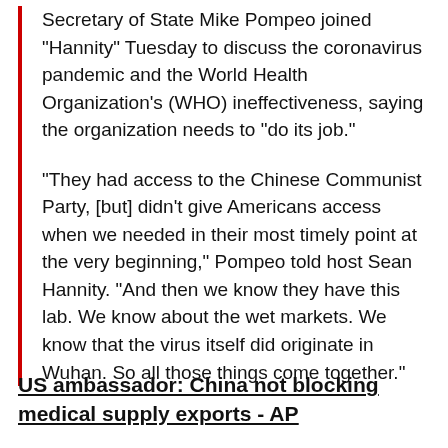Secretary of State Mike Pompeo joined "Hannity" Tuesday to discuss the coronavirus pandemic and the World Health Organization's (WHO) ineffectiveness, saying the organization needs to "do its job."
"They had access to the Chinese Communist Party, [but] didn't give Americans access when we needed in their most timely point at the very beginning," Pompeo told host Sean Hannity. "And then we know they have this lab. We know about the wet markets. We know that the virus itself did originate in Wuhan. So all those things come together."
US ambassador: China not blocking medical supply exports - AP